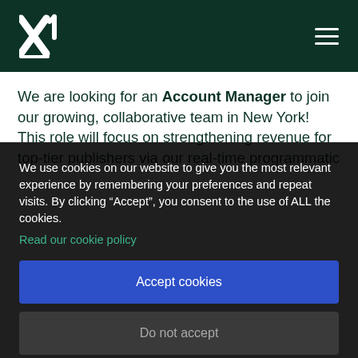[Figure (logo): X1 logo in white on dark green header bar with hamburger menu icon]
We are looking for an Account Manager to join our growing, collaborative team in New York! This role will focus on strengthening revenue for top-tier publishers via our real-time programmatic
We use cookies on our website to give you the most relevant experience by remembering your preferences and repeat visits. By clicking “Accept”, you consent to the use of ALL the cookies.
Read our cookie policy
Accept cookies
Do not accept